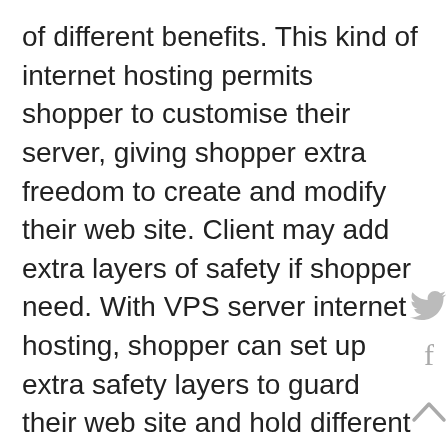of different benefits. This kind of internet hosting permits shopper to customise their server, giving shopper extra freedom to create and modify their web site. Client may add extra layers of safety if shopper need. With VPS server internet hosting, shopper can set up extra safety layers to guard their web site and hold different web sites secure. This implies that shopper can shield their web site and their knowledge from potential assaults and knowledge breaches.
Another benefit of VPS server internet hosting is its superior uptime. Shared internet hosting consists of a number of web sites that share the identical server, inflicting the server to develop into gradual. VPS servers isolate their web site on a separate server with its